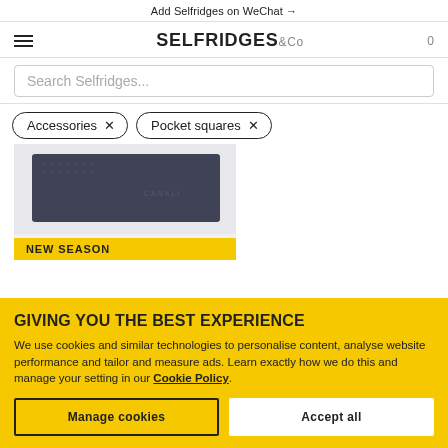Add Selfridges on WeChat →
[Figure (screenshot): Selfridges & Co logo with hamburger menu icon on left and cart count 0 on right]
Search Selfridges...
Accessories ×   Pocket squares ×
[Figure (photo): Dark navy/grey folded pocket square accessory product image]
NEW SEASON
GIVING YOU THE BEST EXPERIENCE
We use cookies and similar technologies to personalise content, analyse website performance and tailor and measure ads. Learn exactly how we do this and manage your setting in our Cookie Policy.
Manage cookies
Accept all